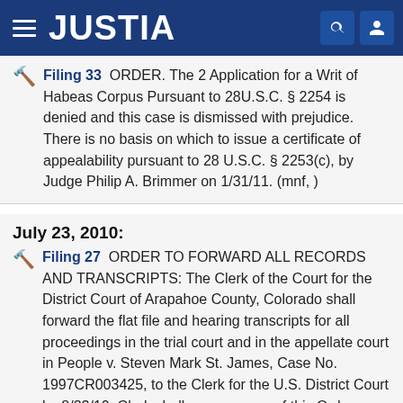JUSTIA
Filing 33 ORDER. The 2 Application for a Writ of Habeas Corpus Pursuant to 28U.S.C. § 2254 is denied and this case is dismissed with prejudice. There is no basis on which to issue a certificate of appealability pursuant to 28 U.S.C. § 2253(c), by Judge Philip A. Brimmer on 1/31/11. (mnf, )
July 23, 2010:
Filing 27 ORDER TO FORWARD ALL RECORDS AND TRANSCRIPTS: The Clerk of the Court for the District Court of Arapahoe County, Colorado shall forward the flat file and hearing transcripts for all proceedings in the trial court and in the appellate court in People v. Steven Mark St. James, Case No. 1997CR003425, to the Clerk for the U.S. District Court by 8/23/10. Clerk shall serve a copy of this Order on the Clerk for the Arapahoe County District Court, by